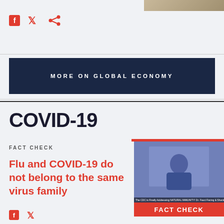[Figure (screenshot): Social media share icons (Facebook, Twitter, Share) in red on light gray background]
[Figure (photo): Partial image in top right corner, appears to be an outdoor scene]
MORE ON GLOBAL ECONOMY
COVID-19
FACT CHECK
Flu and COVID-19 do not belong to the same virus family
[Figure (screenshot): Video thumbnail showing a woman in blue speaking, with a FACT CHECK red badge overlay]